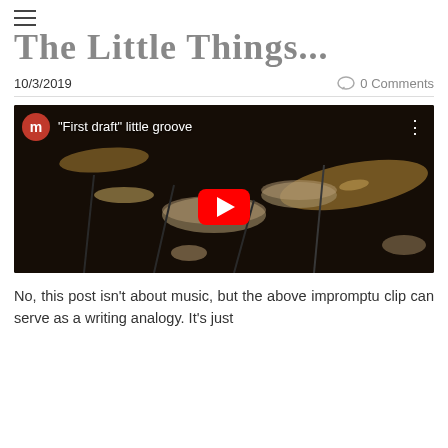≡
The Little Things...
10/3/2019
0 Comments
[Figure (screenshot): YouTube video thumbnail showing a drumkit with cymbals in sepia/dark tone. Video title: "First draft" little groove. YouTube play button overlay in center. User avatar with letter 'm' in orange-red circle top left.]
No, this post isn't about music, but the above impromptu clip can serve as a writing analogy. It's just